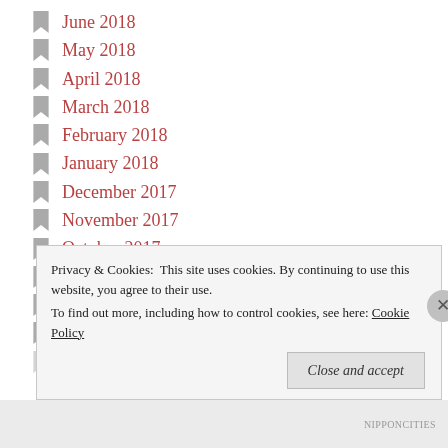June 2018
May 2018
April 2018
March 2018
February 2018
January 2018
December 2017
November 2017
October 2017
September 2017
August 2017
July 2017
June 2017
Privacy & Cookies: This site uses cookies. By continuing to use this website, you agree to their use. To find out more, including how to control cookies, see here: Cookie Policy
Close and accept